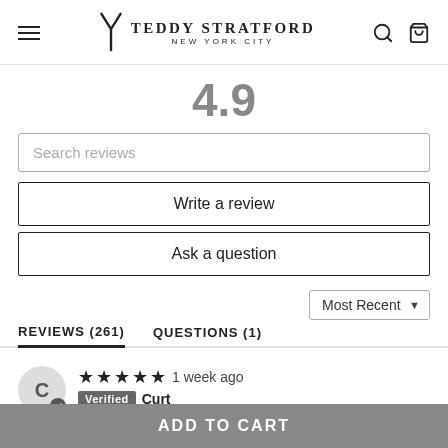Teddy Stratford New York City
4.9
Search reviews
Write a review
Ask a question
Most Recent
REVIEWS (261)   QUESTIONS (1)
★★★★★  1 week ago
Verified  Curt
Nice fit
ADD TO CART